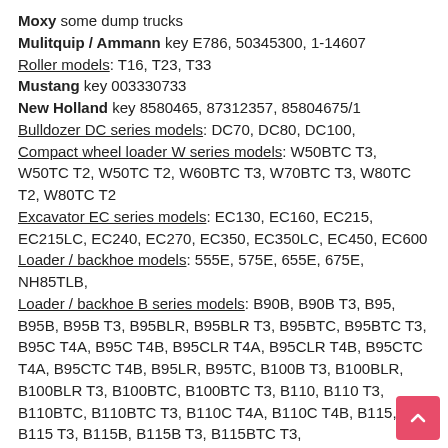Moxy some dump trucks
Mulitquip / Ammann key E786, 50345300, 1-14607
Roller models: T16, T23, T33
Mustang key 003330733
New Holland key 8580465, 87312357, 85804675/1
Bulldozer DC series models: DC70, DC80, DC100,
Compact wheel loader W series models: W50BTC T3, W50TC T2, W50TC T2, W60BTC T3, W70BTC T3, W80TC T2, W80TC T2
Excavator EC series models: EC130, EC160, EC215, EC215LC, EC240, EC270, EC350, EC350LC, EC450, EC600
Loader / backhoe models: 555E, 575E, 655E, 675E, NH85TLB,
Loader / backhoe B series models: B90B, B90B T3, B95, B95B, B95B T3, B95BLR, B95BLR T3, B95BTC, B95BTC T3, B95C T4A, B95C T4B, B95CLR T4A, B95CLR T4B, B95CTC T4A, B95CTC T4B, B95LR, B95TC, B100B T3, B100BLR, B100BLR T3, B100BTC, B100BTC T3, B110, B110 T3, B110BTC, B110BTC T3, B110C T4A, B110C T4B, B115, B115 T3, B115B, B115B T3, B115BTC T3,
Loader / backhoe LB series models: LB60, LB60 TURBO, LB75, LB75.B, LB75CP, LB90, LB90.B, LB95,